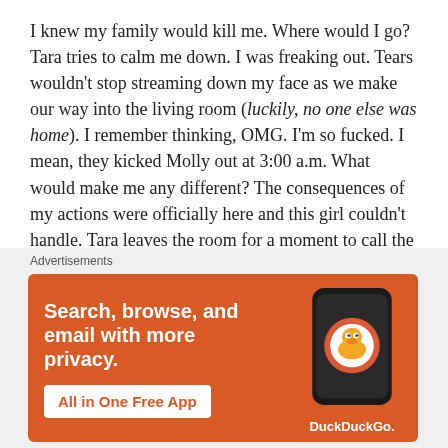I knew my family would kill me. Where would I go? Tara tries to calm me down. I was freaking out. Tears wouldn't stop streaming down my face as we make our way into the living room (luckily, no one else was home). I remember thinking, OMG. I'm so fucked. I mean, they kicked Molly out at 3:00 a.m. What would make me any different? The consequences of my actions were officially here and this girl couldn't handle. Tara leaves the room for a moment to call the owner, Janel to find out what to do with me.
For some odd reason, Tara comes back with good news. Apparently, Janel said that she sees something in me that she doesn't see in anyone else here — verbatim. Holy shit
Advertisements
[Figure (infographic): DuckDuckGo advertisement banner with orange background. Text reads: 'Search, browse, and email with more privacy. All in One Free App' with DuckDuckGo logo and a smartphone image.]